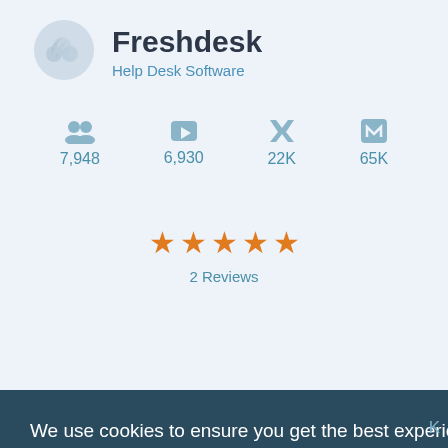Freshdesk
Help Desk Software
7,948
6,930
22K
65K
[Figure (other): Five orange star rating symbols]
2 Reviews
We use cookies to ensure you get the best experience on our website. By continuing to use this website, we'll assume that's OK.
Learn more
OK
K